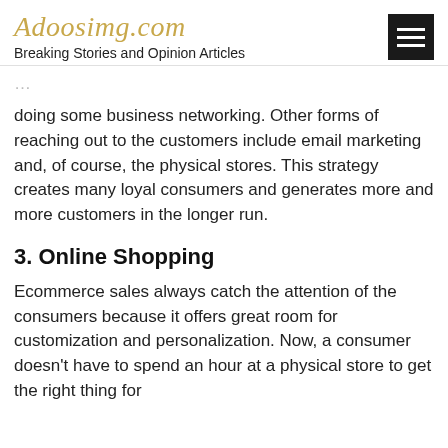Adoosimg.com
Breaking Stories and Opinion Articles
doing some business networking. Other forms of reaching out to the customers include email marketing and, of course, the physical stores. This strategy creates many loyal consumers and generates more and more customers in the longer run.
3. Online Shopping
Ecommerce sales always catch the attention of the consumers because it offers great room for customization and personalization. Now, a consumer doesn't have to spend an hour at a physical store to get the right thing for